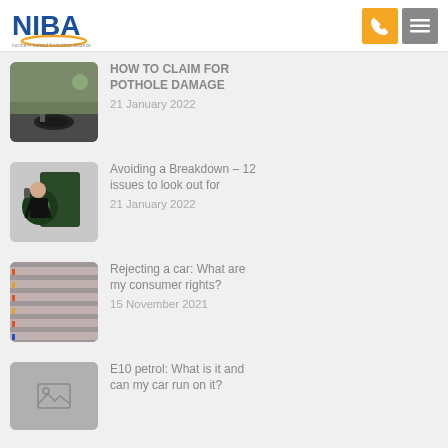NIBA
HOW TO CLAIM FOR POTHOLE DAMAGE
21 January 2022
Avoiding a Breakdown – 12 issues to look out for
21 January 2022
Rejecting a car: What are my consumer rights?
15 November 2021
E10 petrol: What is it and can my car run on it?